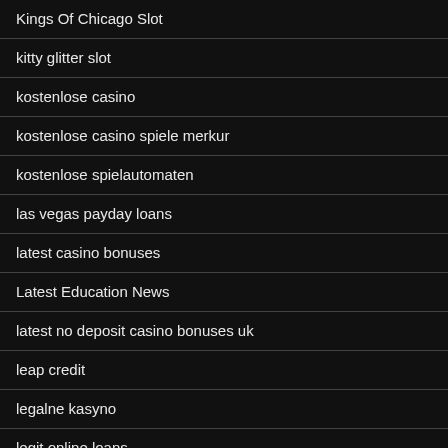Kings Of Chicago Slot
kitty glitter slot
kostenlose casino
kostenlose casino spiele merkur
kostenlose spielautomaten
las vegas payday loans
latest casino bonuses
Latest Education News
latest no deposit casino bonuses uk
leap credit
legalne kasyno
legit online loans
legit payday loans